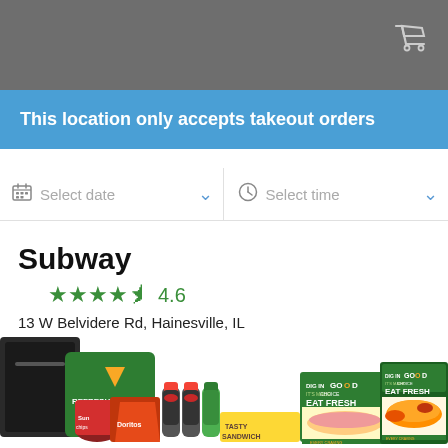This location only accepts takeout orders
Select date   Select time
Subway
★★★★½ 4.6
13 W Belvidere Rd, Hainesville, IL
[Figure (photo): Subway restaurant food items including bags, chips, drinks, sandwiches and catering boxes with EAT FRESH branding]